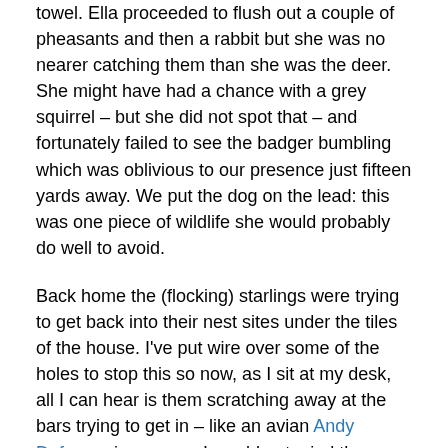towel.  Ella proceeded to flush out a couple of pheasants and then a rabbit but she was no nearer catching them than she was the deer.  She might have had a chance with a grey squirrel – but she did not spot that – and fortunately failed to see the badger bumbling which was oblivious to our presence just fifteen yards away.   We put the dog on the lead:  this was one piece of wildlife she would probably do well to avoid.
Back home the (flocking) starlings were trying to get back into their nest sites under the tiles of the house.  I've put wire over some of the holes to stop this so now, as I sit at my desk, all I can hear is them scratching away at the bars trying to get in – like an avian Andy Dufresne in reverse.  I would not mind them being there, but we decided to evict them when they started removing loft insulation and